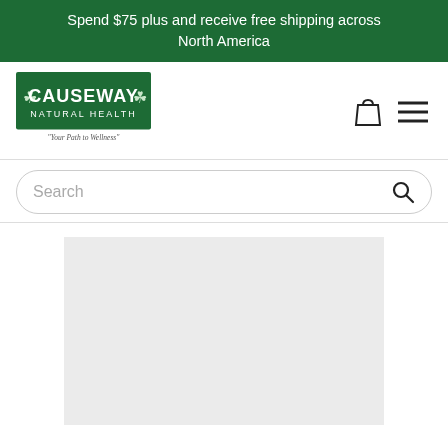Spend $75 plus and receive free shipping across North America
[Figure (logo): Causeway Natural Health logo with Celtic symbols and tagline 'Your Path to Wellness']
Search
[Figure (photo): Product image placeholder (light gray rectangle)]